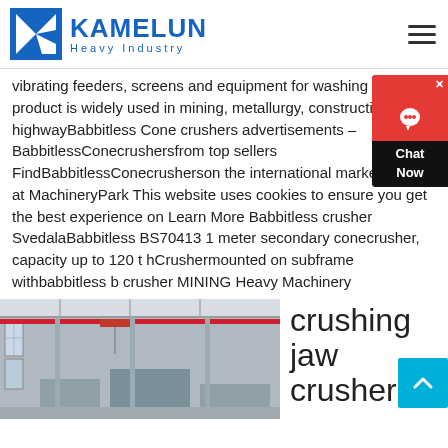[Figure (logo): Kamelun Heavy Industry logo with blue K triangle icon and bold blue text]
vibrating feeders, screens and equipment for washing sand Our product is widely used in mining, metallurgy, construction, highwayBabbitless Cone crushers advertisements – BabbitlessConecrushersfrom top sellers FindBabbitlessConecrusherson the international market place at MachineryPark This website uses cookies to ensure you get the best experience on Learn More Babbitless crusher SvedalaBabbitless BS70413 1 meter secondary conecrusher, capacity up to 120 t hCrushermounted on subframe withbabbitless b crusher MINING Heavy Machinery
[Figure (photo): Interior of a large industrial factory/workshop with overhead cranes and machinery]
crushing jaw crusher